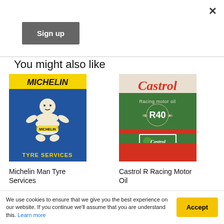×
Sign up
You might also like
[Figure (illustration): Michelin Man Tyre Services vintage tin sign with yellow top bar reading MICHELIN, blue background with Michelin Man mascot, yellow bottom text TYRE SERVICES]
Michelin Man Tyre Services
[Figure (illustration): Castrol R Racing Motor Oil vintage tin sign with Castrol logo in red on cream top, green background with Racing motor oil R40 text and laurel wreath, red stripe at bottom with Castrol logo box]
Castrol R Racing Motor Oil
We use cookies to ensure that we give you the best experience on our website. If you continue we'll assume that you are understand this. Learn more